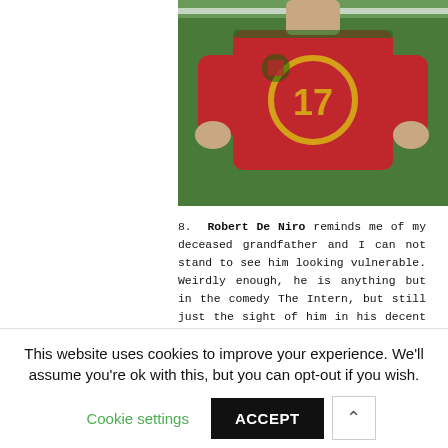[Figure (photo): Soccer player wearing Portugal national team red jersey number 17, standing on a field with hands on hips, torso visible]
8. Robert De Niro reminds me of my deceased grandfather and I can not stand to see him looking vulnerable. Weirdly enough, he is anything but in the comedy The Intern, but still just the sight of him in his decent blue pyjamas brings me to tears.
[Figure (photo): Man lying in bed wearing light gray pajamas, viewed from above, appears to be an elderly man resting]
This website uses cookies to improve your experience. We'll assume you're ok with this, but you can opt-out if you wish.
Cookie settings   ACCEPT